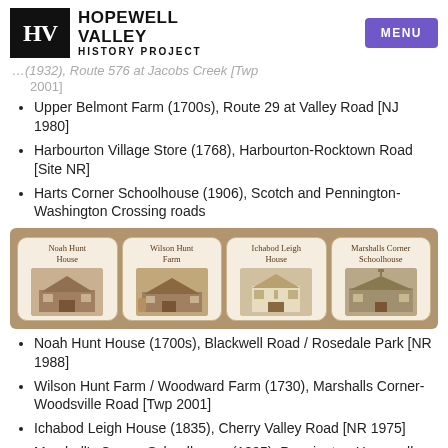Hopewell Valley History Project — MENU
…(1932), Route 576 at Jacobs Creek [Twp 2001]
Upper Belmont Farm (1700s), Route 29 at Valley Road [NJ 1980]
Harbourton Village Store (1768), Harbourton-Rocktown Road [Site NR]
Harts Corner Schoolhouse (1906), Scotch and Pennington-Washington Crossing roads
[Figure (illustration): Four historic building cards in a row: Noah Hunt House, Wilson Hunt Farm, Ichabod Leigh House, Marshalls Corner Schoolhouse — sepia-toned photos in rounded cards on a brown background]
Noah Hunt House (1700s), Blackwell Road / Rosedale Park [NR 1988]
Wilson Hunt Farm / Woodward Farm (1730), Marshalls Corner-Woodsville Road [Twp 2001]
Ichabod Leigh House (1835), Cherry Valley Road [NR 1975]
Marshall's Corner Schoolhouse (1825), Pennington-Hopewell …